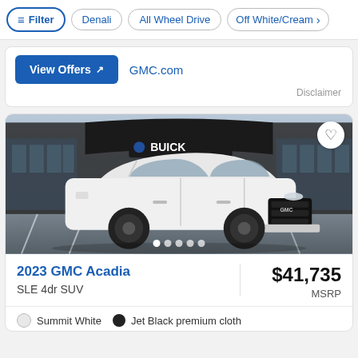Filter | Denali | All Wheel Drive | Off White/Cream
View Offers [external link]   GMC.com
Disclaimer
[Figure (photo): White 2023 GMC Acadia SLE SUV parked in front of a Buick/GMC dealership building]
2023 GMC Acadia
SLE 4dr SUV
$41,735
MSRP
Summit White   Jet Black premium cloth